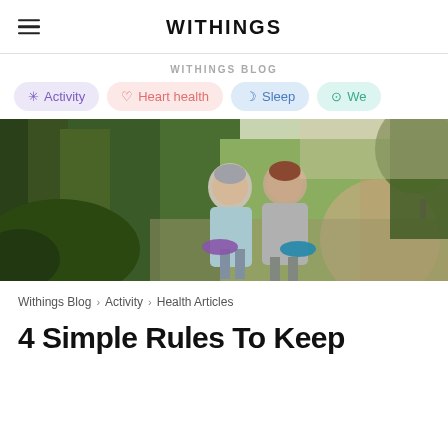WITHINGS
WITHINGS BLOG
Activity
Heart health
Sleep
We...
[Figure (photo): Two older women smiling and walking outdoors on a path lined with trees, each carrying a rolled yoga mat — one purple, one teal. They are dressed in casual athletic wear.]
Withings Blog > Activity > Health Articles
4 Simple Rules To Keep